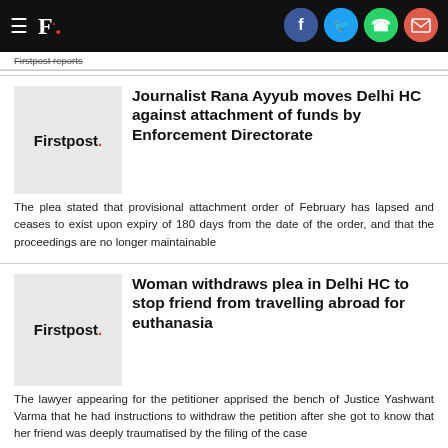Firstpost. [social icons: Facebook, Twitter, WhatsApp, Email]
Firstpost reports
Journalist Rana Ayyub moves Delhi HC against attachment of funds by Enforcement Directorate
The plea stated that provisional attachment order of February has lapsed and ceases to exist upon expiry of 180 days from the date of the order, and that the proceedings are no longer maintainable
Woman withdraws plea in Delhi HC to stop friend from travelling abroad for euthanasia
The lawyer appearing for the petitioner apprised the bench of Justice Yashwant Varma that he had instructions to withdraw the petition after she got to know that her friend was deeply traumatised by the filing of the case